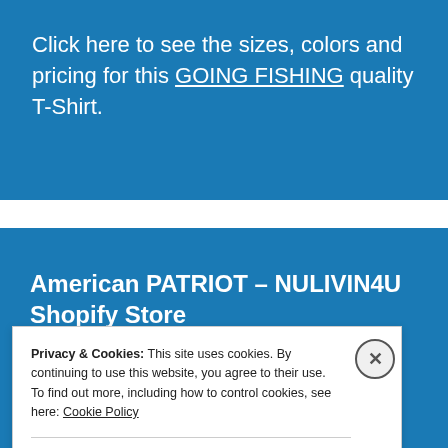Click here to see the sizes, colors and pricing for this GOING FISHING quality T-Shirt.
American PATRIOT – NULIVIN4U Shopify Store
Privacy & Cookies: This site uses cookies. By continuing to use this website, you agree to their use.
To find out more, including how to control cookies, see here: Cookie Policy
Close and accept